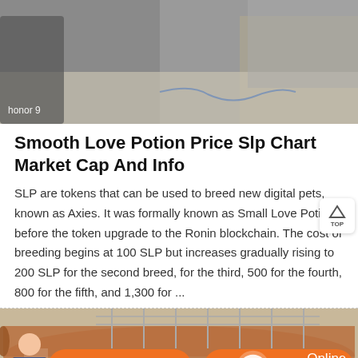[Figure (photo): A grey outdoor scene, possibly a construction or industrial area. Honor 9 logo visible in bottom-left corner.]
Smooth Love Potion Price Slp Chart Market Cap And Info
SLP are tokens that can be used to breed new digital pets, known as Axies. It was formally known as Small Love Potion before the token upgrade to the Ronin blockchain. The cost of breeding begins at 100 SLP but increases gradually rising to 200 SLP for the second breed, for the third, 500 for the fourth, 800 for the fifth, and 1,300 for ...
[Figure (photo): Industrial scene showing large cylindrical equipment with scaffolding, in brown/orange tones.]